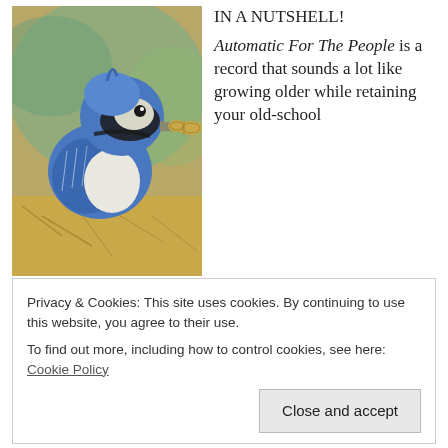[Figure (photo): A blue jay bird holding a peanut in its beak, photographed close-up on a natural background]
IN A NUTSHELL! Automatic For The People is a record that sounds a lot like growing older while retaining your old-school punk identity. Soft yet intense songs take on death, reminiscing and aging parents, yet it's not a downer by any means. The band plays relatively few traditional rock instruments, and brings in an orchestra, to boot, but the songs sound fresh and somehow R.E.M maintains its independent, DIY spirit throughout.
Privacy & Cookies: This site uses cookies. By continuing to use this website, you agree to their use.
To find out more, including how to control cookies, see here: Cookie Policy
Close and accept